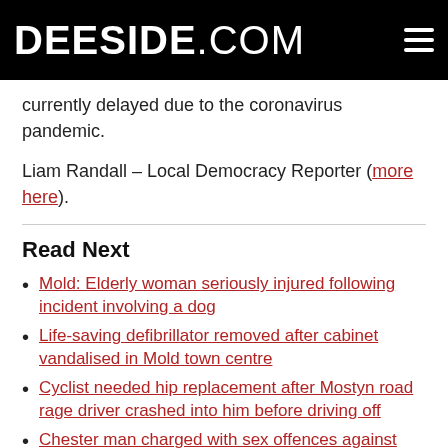DEESIDE.COM
currently delayed due to the coronavirus pandemic.
Liam Randall – Local Democracy Reporter (more here).
Read Next
Mold: Elderly woman seriously injured following incident involving a dog
Life-saving defibrillator removed after cabinet vandalised in Mold town centre
Cyclist needed hip replacement after Mostyn road rage driver crashed into him before driving off
Chester man charged with sex offences against 13-year-old girl